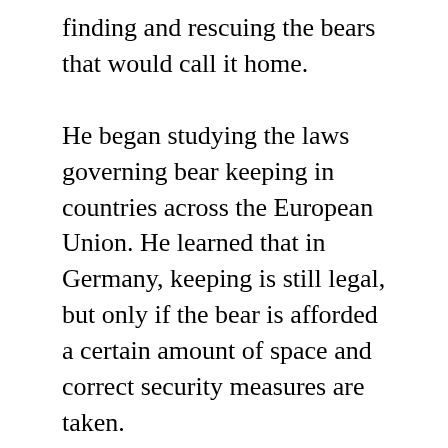finding and rescuing the bears that would call it home.
He began studying the laws governing bear keeping in countries across the European Union. He learned that in Germany, keeping is still legal, but only if the bear is afforded a certain amount of space and correct security measures are taken.
He quickly identified many small zoos keeping bears in inappropriate conditions. His crusade was helped by the fact that German public perceptions about captive bears are so negative that many keepers